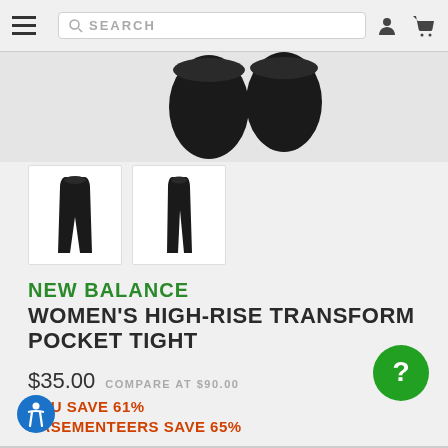SEARCH
[Figure (photo): Product thumbnail images of black women's leggings/tights shown from front and side views]
[Figure (photo): Two thumbnail images of black women's high-rise tights on white background]
NEW BALANCE
WOMEN'S HIGH-RISE TRANSFORM POCKET TIGHT
$35.00   COMPARE AT $90.00
YOU SAVE 61%
BASEMENTEERS SAVE 65%